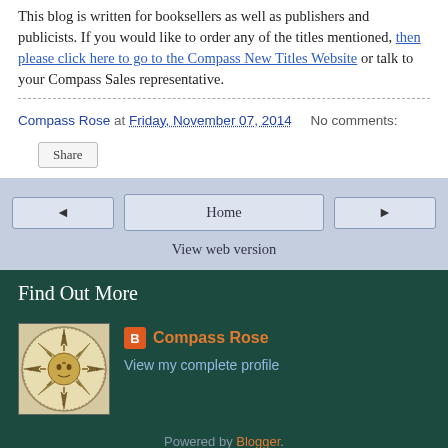This blog is written for booksellers as well as publishers and publicists. If you would like to order any of the titles mentioned, then please click here to go to the Compass New Titles Website or talk to your Compass Sales representative.
Compass Rose at Friday, November 07, 2014   No comments:
Share
◄   Home   ►
View web version
Find Out More
[Figure (illustration): Compass rose / sun face decorative circular illustration in antique style]
Compass Rose
View my complete profile
Powered by Blogger.